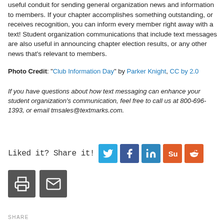useful conduit for sending general organization news and information to members. If your chapter accomplishes something outstanding, or receives recognition, you can inform every member right away with a text! Student organization communications that include text messages are also useful in announcing chapter election results, or any other news that's relevant to members.
Photo Credit: "Club Information Day" by Parker Knight, CC by 2.0
If you have questions about how text messaging can enhance your student organization's communication, feel free to call us at 800-696-1393, or email tmsales@textmarks.com.
[Figure (infographic): Social share buttons row: Twitter, Facebook, LinkedIn, StumbleUpon, Reddit icons with 'Liked it? Share it!' label, plus print and email icon buttons below]
SHARE